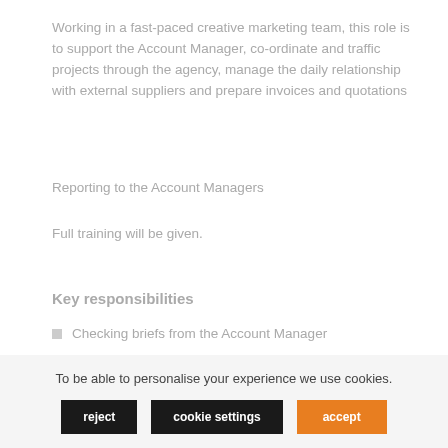Working in a fast-paced creative marketing team, this role is to support the Account Manager, co-ordinate and traffic projects through the agency, manage the daily relationship with external suppliers and prepare invoices and quotations
Reporting to the Account Managers
Full training will be given.
Key responsibilities
Checking briefs from the Account Manager
Working alongside the Production team to co-
To be able to personalise your experience we use cookies.